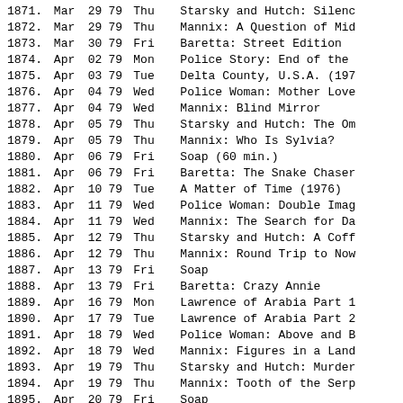| # | Mon | Day | Yr | DOW | Title |
| --- | --- | --- | --- | --- | --- |
| 1871. | Mar | 29 | 79 | Thu | Starsky and Hutch: Silenc |
| 1872. | Mar | 29 | 79 | Thu | Mannix: A Question of Mid |
| 1873. | Mar | 30 | 79 | Fri | Baretta: Street Edition |
| 1874. | Apr | 02 | 79 | Mon | Police Story: End of the |
| 1875. | Apr | 03 | 79 | Tue | Delta County, U.S.A. (197 |
| 1876. | Apr | 04 | 79 | Wed | Police Woman: Mother Love |
| 1877. | Apr | 04 | 79 | Wed | Mannix: Blind Mirror |
| 1878. | Apr | 05 | 79 | Thu | Starsky and Hutch: The Om |
| 1879. | Apr | 05 | 79 | Thu | Mannix: Who Is Sylvia? |
| 1880. | Apr | 06 | 79 | Fri | Soap (60 min.) |
| 1881. | Apr | 06 | 79 | Fri | Baretta: The Snake Chaser |
| 1882. | Apr | 10 | 79 | Tue | A Matter of Time (1976) |
| 1883. | Apr | 11 | 79 | Wed | Police Woman: Double Imag |
| 1884. | Apr | 11 | 79 | Wed | Mannix: The Search for Da |
| 1885. | Apr | 12 | 79 | Thu | Starsky and Hutch: A Coff |
| 1886. | Apr | 12 | 79 | Thu | Mannix: Round Trip to Now |
| 1887. | Apr | 13 | 79 | Fri | Soap |
| 1888. | Apr | 13 | 79 | Fri | Baretta: Crazy Annie |
| 1889. | Apr | 16 | 79 | Mon | Lawrence of Arabia Part 1 |
| 1890. | Apr | 17 | 79 | Tue | Lawrence of Arabia Part 2 |
| 1891. | Apr | 18 | 79 | Wed | Police Woman: Above and B |
| 1892. | Apr | 18 | 79 | Wed | Mannix: Figures in a Land |
| 1893. | Apr | 19 | 79 | Thu | Starsky and Hutch: Murder |
| 1894. | Apr | 19 | 79 | Thu | Mannix: Tooth of the Serp |
| 1895. | Apr | 20 | 79 | Fri | Soap |
| 1896. | Apr | 20 | 79 | Fri | Baretta: Dear Tony |
| 1897. | Apr | 23 | 79 | Mon | Police Story: The Jar Par |
| 1898. | Apr | 24 | 79 | Tue | Love for Ransom (1977) |
| 1899. | Apr | 25 | 79 | Wed | Police Woman: The Pawnsho |
| 1900. | Apr | 25 | 79 | Wed | Mannix: The Judas Touch |